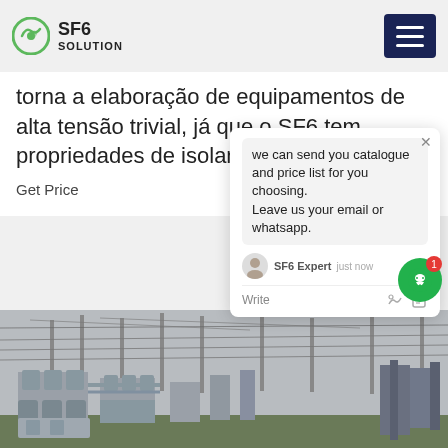SF6 SOLUTION
torna a elaboração de equipamentos de alta tensão trivial, já que o SF6 tem propriedades de isolamento excepcionais.
Get Price
[Figure (screenshot): Chat popup overlay showing message: 'we can send you catalogue and price list for you choosing. Leave us your email or whatsapp.' with SF6 Expert agent avatar, 'just now' timestamp, and Write/emoji bar.]
[Figure (photo): Electrical substation with large power transformers, transmission towers, and high-voltage equipment outdoors.]